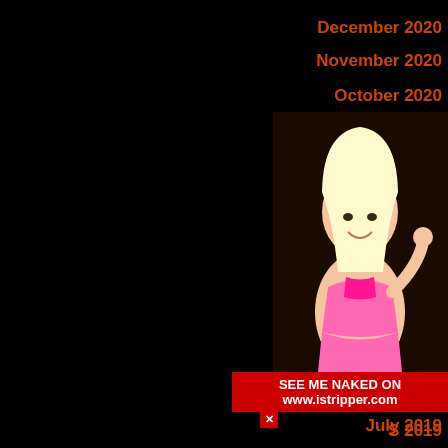December 2020
November 2020
October 2020
August 2020
July 2020
June 2020
May 2020
March 2020
February 2020
January 2020
2019
2019
2019
July 2019
[Figure (photo): Blonde woman in pink outfit posing]
SEE ME NAKED ON www.istripper.com